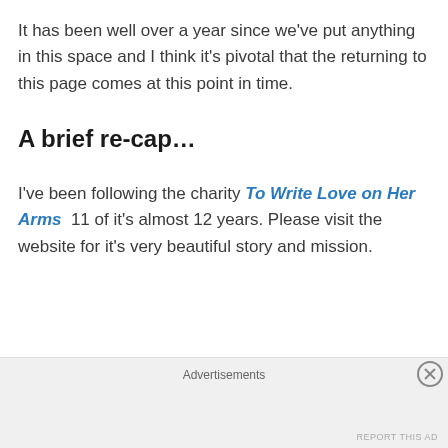It has been well over a year since we've put anything in this space and I think it's pivotal that the returning to this page comes at this point in time.
A brief re-cap…
I've been following the charity To Write Love on Her Arms  11 of it's almost 12 years. Please visit the website for it's very beautiful story and mission.
Advertisements